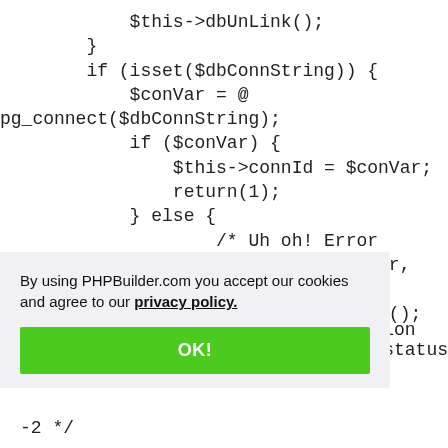PHP code snippet showing dbUnLink, pg_connect, connId assignment, return(1), else block with error comment, $this->TsError(), and a function comment about exit status -2
By using PHPBuilder.com you accept our cookies and agree to our privacy policy.
OK!